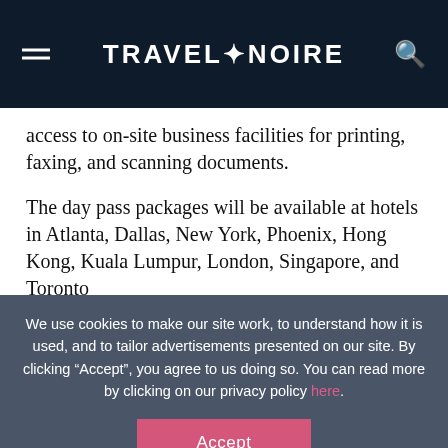TRAVEL+NOIRE
access to on-site business facilities for printing, faxing, and scanning documents.
The day pass packages will be available at hotels in Atlanta, Dallas, New York, Phoenix, Hong Kong, Kuala Lumpur, London, Singapore, and Toronto
We use cookies to make our site work, to understand how it is used, and to tailor advertisements presented on our site. By clicking “Accept”, you agree to us doing so. You can read more by clicking on our privacy policy here.
Accept